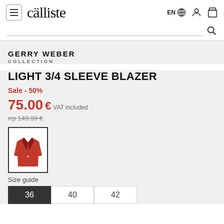calliste — EN | user | bag | search
LIGHT 3/4 SLEEVE BLAZER
GERRY WEBER
COLLECTION
Sale - 50%
75.00 € VAT included
rrp 149.99 €
[Figure (photo): Red blazer product thumbnail image in a bordered square swatch]
Size guide
36  40  42